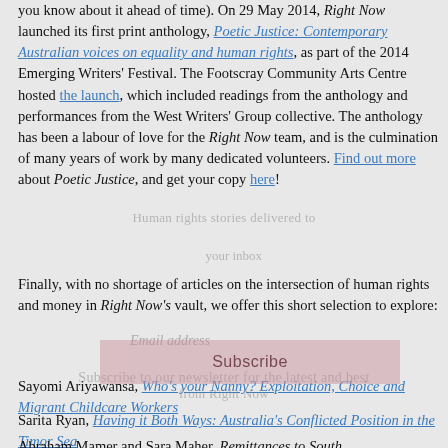you know about it ahead of time). On 29 May 2014, Right Now launched its first print anthology, Poetic Justice: Contemporary Australian voices on equality and human rights, as part of the 2014 Emerging Writers' Festival. The Footscray Community Arts Centre hosted the launch, which included readings from the anthology and performances from the West Writers' Group collective. The anthology has been a labour of love for the Right Now team, and is the culmination of many years of work by many dedicated volunteers. Find out more about Poetic Justice, and get your copy here!
Finally, with no shortage of articles on the intersection of human rights and money in Right Now's vault, we offer this short selection to explore:
Sayomi Ariyawansa, Who's your Nanny? Exploitation, Choice and Migrant Childcare Workers
Sarita Ryan, Having it Both Ways: Australia's Conflicted Position in the Timor Sea
Abraham Mamer and Sara Maher, Remittances to South